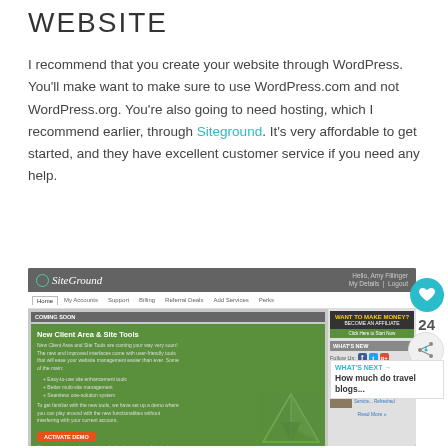WEBSITE
I recommend that you create your website through WordPress. You'll make want to make sure to use WordPress.com and not WordPress.org. You're also going to need hosting, which I recommend earlier, through Siteground. It's very affordable to get started, and they have excellent customer service if you need any help.
[Figure (screenshot): Screenshot of SiteGround hosting control panel showing the New Client Area & Site Tools page with green promotional section, navigation bar, sidebar with affiliate ad and news items, and overlay elements including a heart button (24 saves), share button, and 'WHAT'S NEXT' panel showing 'How much do travel blogs...']